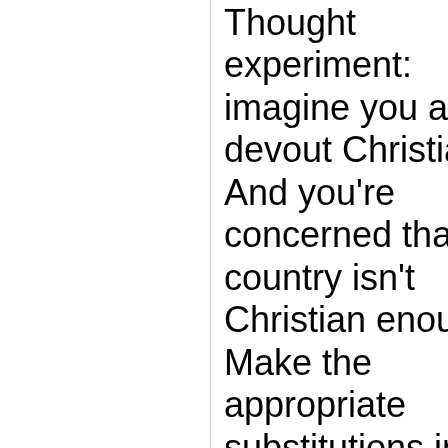Thought experiment: imagine you are a devout Christian. And you're concerned that the country isn't Christian enough. Make the appropriate substitutions in Nolan's argument